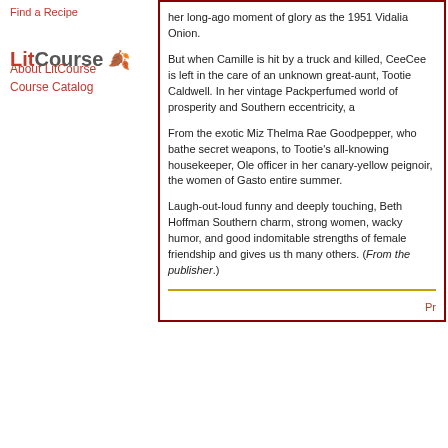Find a Recipe
LitCourse
About LitCourse
Course Catalog
her long-ago moment of glory as the 1951 Vidalia Onion.
But when Camille is hit by a truck and killed, CeeCee is left in the care of an unknown great-aunt, Tootie Caldwell. In her vintage Pack- perfumed world of prosperity and Southern eccentricity, a
From the exotic Miz Thelma Rae Goodpepper, who bathe secret weapons, to Tootie's all-knowing housekeeper, Ole officer in her canary-yellow peignoir, the women of Gasto entire summer.
Laugh-out-loud funny and deeply touching, Beth Hoffman Southern charm, strong women, wacky humor, and good indomitable strengths of female friendship and gives us th many others. (From the publisher.)
Pr